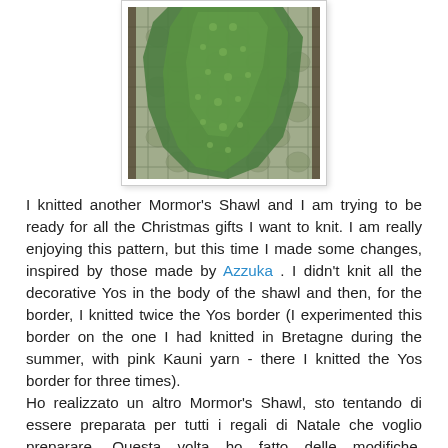[Figure (photo): A green lace knitted shawl draped over a metal wire fence/gate, photographed outdoors.]
I knitted another Mormor's Shawl and I am trying to be ready for all the Christmas gifts I want to knit. I am really enjoying this pattern, but this time I made some changes, inspired by those made by Azzuka . I didn't knit all the decorative Yos in the body of the shawl and then, for the border, I knitted twice the Yos border (I experimented this border on the one I had knitted in Bretagne during the summer, with pink Kauni yarn - there I knitted the Yos border for three times).
Ho realizzato un altro Mormor's Shawl, sto tentando di essere preparata per tutti i regali di Natale che voglio preparare. Questa volta ho fatto delle modifiche, ispirandomi a quelle di Azzuka...